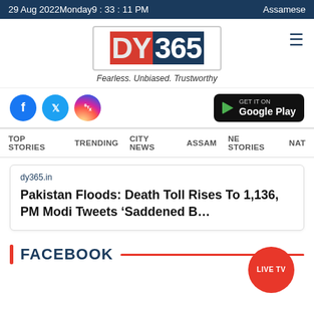29 Aug 2022 Monday 9 : 33 : 11 PM   Assamese
[Figure (logo): DY365 logo with tagline: Fearless. Unbiased. Trustworthy]
[Figure (logo): Social icons: Facebook, Twitter, Instagram and Get it on Google Play button]
TOP STORIES   TRENDING   CITY NEWS   ASSAM   NE STORIES   NAT
dy365.in
Pakistan Floods: Death Toll Rises To 1,136, PM Modi Tweets ‘Saddened B…
FACEBOOK
LIVE TV